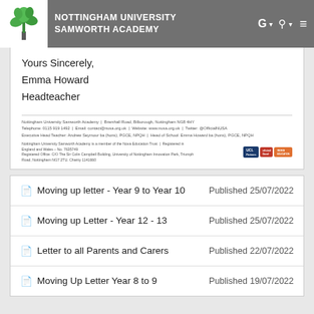NOTTINGHAM UNIVERSITY SAMWORTH ACADEMY
Yours Sincerely,

Emma Howard

Headteacher
Nottingham University Samworth Academy | Bramhall Road, Bilborough, Nottingham NG8 4HY | Telephone: 0115 919 1492 | Email: contact@nusa.org.uk | Website: www.nusa.org.uk | Twitter: @OfficialNUSA | Executive Head Teacher: Andrew Seymour ba (hons), PGCE, NPQH | Head of School: Emma Howard ba (hons), PGCE, NPQH
Moving up letter - Year 9 to Year 10
Published 25/07/2022
Moving up Letter - Year 12 - 13
Published 25/07/2022
Letter to all Parents and Carers
Published 22/07/2022
Moving Up Letter Year 8 to 9
Published 19/07/2022